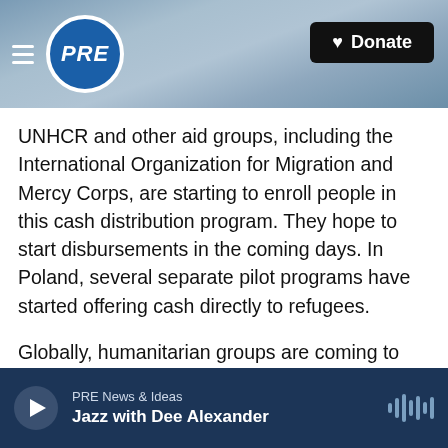[Figure (screenshot): PRE public radio website header with logo, hamburger menu, and Donate button over a blue ocean wave background image]
UNHCR and other aid groups, including the International Organization for Migration and Mercy Corps, are starting to enroll people in this cash distribution program. They hope to start disbursements in the coming days. In Poland, several separate pilot programs have started offering cash directly to refugees.
Globally, humanitarian groups are coming to recognize that cash aid makes a lot of sense in some disasters. Wojtek Wilk, the head of the Polish Center for International Aid, says the Ukraine crisis is one of them.
PRE News & Ideas — Jazz with Dee Alexander